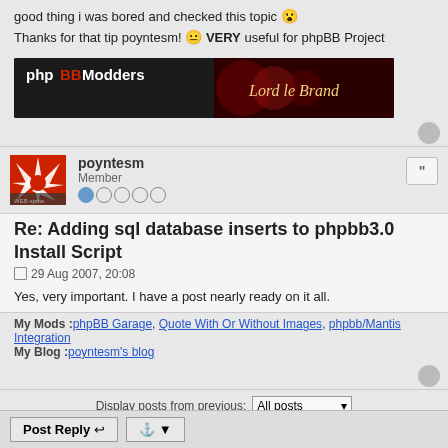good thing i was bored and checked this topic 😮
Thanks for that tip poyntesm! 😐 VERY useful for phpBB Project
[Figure (illustration): phpBB Modders banner with 'Lord le Brand' text on dark background]
poyntesm
Member
Re: Adding sql database inserts to phpbb3.0 Install Script
29 Aug 2007, 20:08
Yes, very important. I have a post nearly ready on it all.
My Mods : phpBB Garage, Quote With Or Without Images, phpbb/Mantis Integration
My Blog : poyntesm's blog
Display posts from previous: All posts  Sort by Post time  Ascending  Go
Post Reply